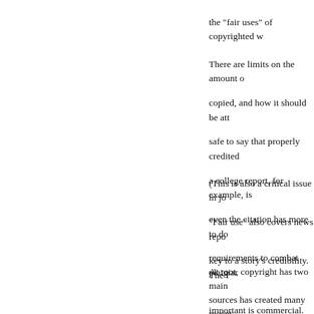the "fair uses" of copyrighted w...
There are limits on the amount o... copied, and how it should be att... safe to say that properly credited... a college report, for example, is... even the citation has more to do... requirements to combat plaigiar...
(This is also a critical issue in jo... "Fair use" also covers news repo... key to a story's credibility. The f... sources has created many recent...
At root, copyright has two main... important is commercial. The pe... "intellectual property" should ha... for it. He may do this directly, o... capitalize on the copyrighted ma...